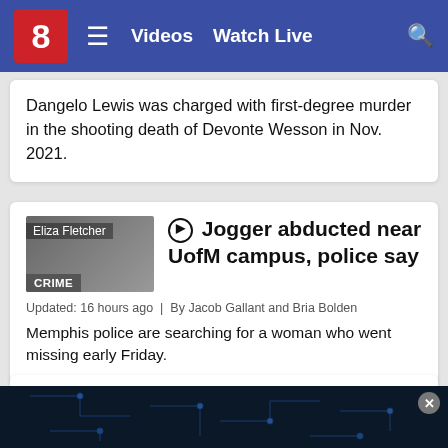8  ≡  Videos  Watch Live  🔍
Dangelo Lewis was charged with first-degree murder in the shooting death of Devonte Wesson in Nov. 2021.
▶ Jogger abducted near UofM campus, police say
Updated: 16 hours ago  |  By Jacob Gallant and Bria Bolden
Memphis police are searching for a woman who went missing early Friday.
Police investigate shots